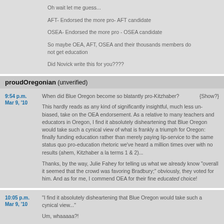Oh wait let me guess...
AFT- Endorsed the more pro- AFT candidate
OSEA- Endorsed the more pro - OSEA candidate
So maybe OEA, AFT, OSEA and their thousands members do not get education
Did Novick write this for you????
proudOregonian (unverified)
9:54 p.m. Mar 9, '10
When did Blue Oregon become so blatantly pro-Kitzhaber? {Show?}
This hardly reads as any kind of significantly insightful, much less un-biased, take on the OEA endorsement. As a relative to many teachers and educators in Oregon, I find it absolutely disheartening that Blue Oregon would take such a cynical view of what is frankly a triumph for Oregon: finally funding education rather than merely paying lip-service to the same status quo pro-education rhetoric we've heard a million times over with no results (ahem, Kitzhaber a la terms 1 & 2)...
Thanks, by the way, Julie Fahey for telling us what we already know "overall it seemed that the crowd was favoring Bradbury;" obviously, they voted for him. And as for me, I commend OEA for their fine educated choice!
10:05 p.m. Mar 9, '10
"I find it absolutely disheartening that Blue Oregon would take such a cynical view..."
Um, whaaaaa?!
The only person taking a position here is Julie Fahey. Her words are